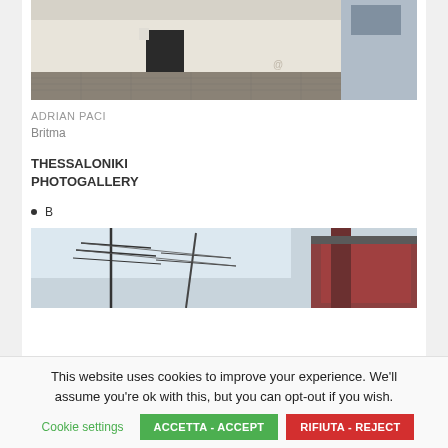[Figure (photo): Exterior of a building with a dark doorway, cobblestone ground in front, and signage visible on the upper right portion of the facade]
ADRIAN PACI
Britma
THESSALONIKI PHOTOGALLERY
B
[Figure (photo): Partial view of a photo showing utility poles or antenna structures on the left and a red structure or building on the right, against a light sky]
This website uses cookies to improve your experience. We'll assume you're ok with this, but you can opt-out if you wish.
Cookie settings
ACCETTA - ACCEPT
RIFIUTA - REJECT